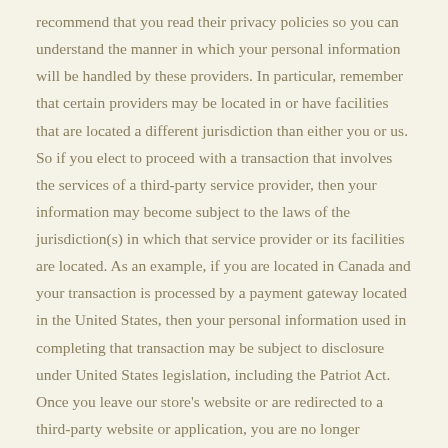recommend that you read their privacy policies so you can understand the manner in which your personal information will be handled by these providers. In particular, remember that certain providers may be located in or have facilities that are located a different jurisdiction than either you or us. So if you elect to proceed with a transaction that involves the services of a third-party service provider, then your information may become subject to the laws of the jurisdiction(s) in which that service provider or its facilities are located. As an example, if you are located in Canada and your transaction is processed by a payment gateway located in the United States, then your personal information used in completing that transaction may be subject to disclosure under United States legislation, including the Patriot Act. Once you leave our store's website or are redirected to a third-party website or application, you are no longer governed by this Privacy Policy or our website's Terms of Service. Links When you click on links on our store, they may direct you away from our site. We are not responsible for the privacy practices of other sites and encourage